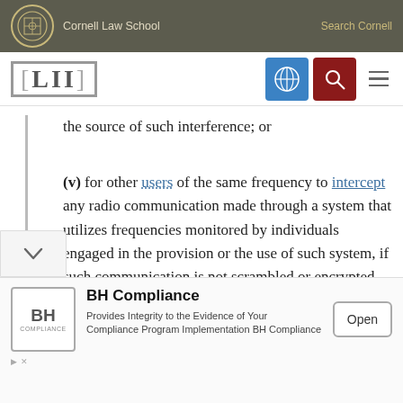Cornell Law School | Search Cornell
[Figure (logo): LII Legal Information Institute logo with navigation icons]
the source of such interference; or
(v) for other users of the same frequency to intercept any radio communication made through a system that utilizes frequencies monitored by individuals engaged in the provision or the use of such system, if such communication is not scrambled or encrypted
[Figure (other): BH Compliance advertisement banner with logo and Open button]